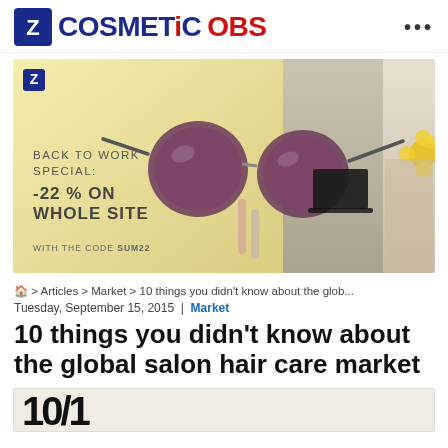COSMETICOBS
[Figure (photo): Advertisement banner: Back to Work Special -22% on whole site with code SUM22, showing sunglasses, cosmetics, laptop and yellow background]
🏠 > Articles > Market > 10 things you didn't know about the glob...
Tuesday, September 15, 2015 | Market
10 things you didn't know about the global salon hair care market
[Figure (photo): Partial bottom image strip showing stylized text or logo]